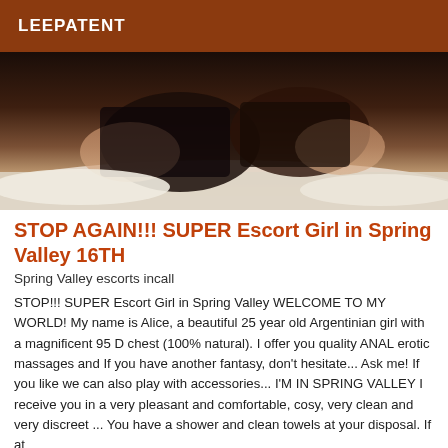LEEPATENT
[Figure (photo): A photograph of a person in dark lingerie lying on white bedding]
STOP AGAIN!!! SUPER Escort Girl in Spring Valley 16TH
Spring Valley escorts incall
STOP!!! SUPER Escort Girl in Spring Valley WELCOME TO MY WORLD! My name is Alice, a beautiful 25 year old Argentinian girl with a magnificent 95 D chest (100% natural). I offer you quality ANAL erotic massages and If you have another fantasy, don't hesitate... Ask me! If you like we can also play with accessories... I'M IN SPRING VALLEY I receive you in a very pleasant and comfortable, cosy, very clean and very discreet ... You have a shower and clean towels at your disposal. If at